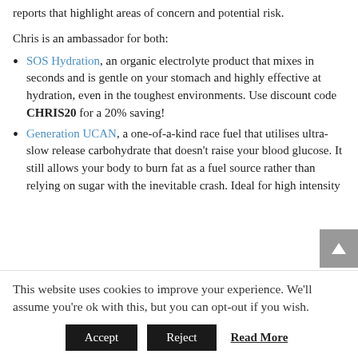reports that highlight areas of concern and potential risk.
Chris is an ambassador for both:
SOS Hydration, an organic electrolyte product that mixes in seconds and is gentle on your stomach and highly effective at hydration, even in the toughest environments. Use discount code CHRIS20 for a 20% saving!
Generation UCAN, a one-of-a-kind race fuel that utilises ultra-slow release carbohydrate that doesn't raise your blood glucose. It still allows your body to burn fat as a fuel source rather than relying on sugar with the inevitable crash. Ideal for high intensity
This website uses cookies to improve your experience. We'll assume you're ok with this, but you can opt-out if you wish.
Accept | Reject | Read More